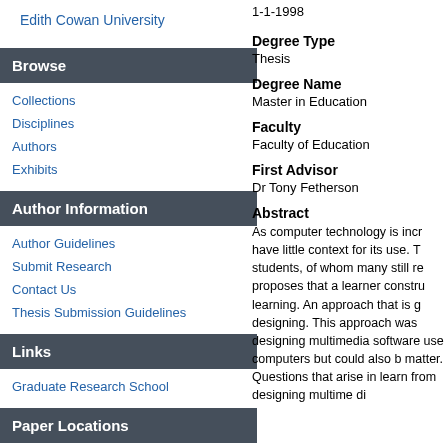Edith Cowan University
Browse
Collections
Disciplines
Authors
Exhibits
Author Information
Author Guidelines
Submit Research
Contact Us
Thesis Submission Guidelines
Links
Graduate Research School
Paper Locations
1-1-1998
Degree Type
Thesis
Degree Name
Master in Education
Faculty
Faculty of Education
First Advisor
Dr Tony Fetherson
Abstract
As computer technology is incr have little context for its use. T students, of whom many still re proposes that a learner constru learning. An approach that is g designing. This approach was designing multimedia software use computers but could also b matter. Questions that arise in learn from designing multime di